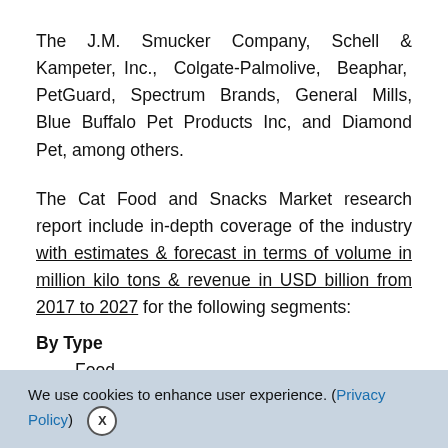The J.M. Smucker Company, Schell & Kampeter, Inc., Colgate-Palmolive, Beaphar, PetGuard, Spectrum Brands, General Mills, Blue Buffalo Pet Products Inc, and Diamond Pet, among others.
The Cat Food and Snacks Market research report include in-depth coverage of the industry with estimates & forecast in terms of volume in million kilo tons & revenue in USD billion from 2017 to 2027 for the following segments:
By Type
Food
We use cookies to enhance user experience. (Privacy Policy)  X